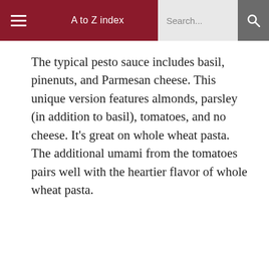A to Z index  Search...
The typical pesto sauce includes basil, pinenuts, and Parmesan cheese. This unique version features almonds, parsley (in addition to basil), tomatoes, and no cheese. It’s great on whole wheat pasta. The additional umami from the tomatoes pairs well with the heartier flavor of whole wheat pasta.
Italian Pesto alla Trapanese (Almond, Parsley, Basil and Tomato Sauce)